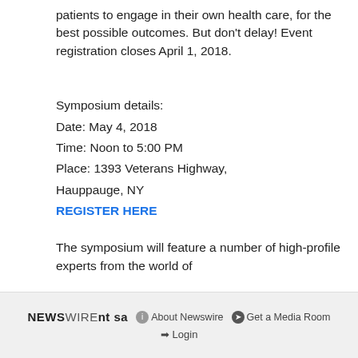patients to engage in their own health care, for the best possible outcomes. But don't delay! Event registration closes April 1, 2018.
Symposium details:
Date: May 4, 2018
Time: Noon to 5:00 PM
Place: 1393 Veterans Highway, Hauppauge, NY
REGISTER HERE
The symposium will feature a number of high-profile experts from the world of
NEWSWIRE  ⓘ About Newswire  ➔ Get a Media Room  ➔ Login